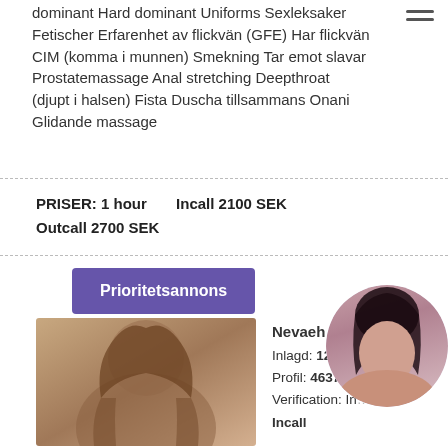dominant Hard dominant Uniforms Sexleksaker Fetischer Erfarenhet av flickvän (GFE) Har flickvän CIM (komma i munnen) Smekning Tar emot slavar Prostatemassage Anal stretching Deepthroat (djupt i halsen) Fista Duscha tillsammans Onani Glidande massage
PRISER: 1 hour   Incall 2100 SEK
Outcall 2700 SEK
Prioritetsannons
Nevaeh St...
Inlagd: 12...
Profil: 4637...
Verification: In... call:
Incall
[Figure (photo): Photo of a young woman with long brown hair posing with one hand raised]
[Figure (photo): Circular thumbnail photo of a dark-haired woman]